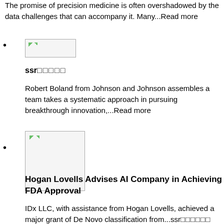The promise of precision medicine is often overshadowed by the data challenges that can accompany it. Many...Read more
[image thumbnail] ssr□□□□□ — Robert Boland from Johnson and Johnson assembles a team takes a systematic approach in pursuing breakthrough innovation,...Read more
[Figure (photo): Broken/placeholder image thumbnail small]
ssr□□□□□
Robert Boland from Johnson and Johnson assembles a team takes a systematic approach in pursuing breakthrough innovation,...Read more
[Figure (photo): Broken/placeholder image thumbnail large]
Hogan Lovells Advises AI Company in Achieving FDA Approval
IDx LLC, with assistance from Hogan Lovells, achieved a major grant of De Novo classification from...ssr□□□□□□
[Figure (photo): Broken/placeholder image thumbnail with ssr text, partially visible at bottom]